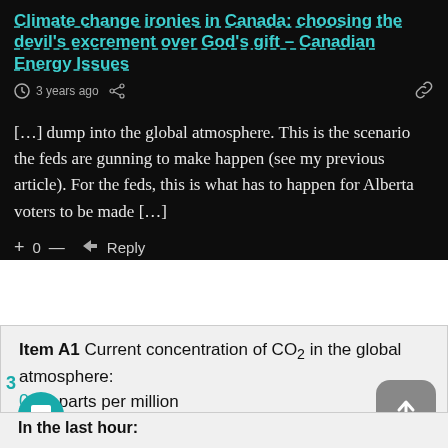Climate change ironies in Canada: choosing the devil's excrement over God's gift – Canadian Energy Issues
3 years ago
[…] dump into the global atmosphere. This is the scenario the feds are gunning to make happen (see my previous article). For the feds, this is what has to happen for Alberta voters to be made […]
+ 0 — Reply
Item A1 Current concentration of CO₂ in the global atmosphere:
0.00 parts per million
In the last hour: